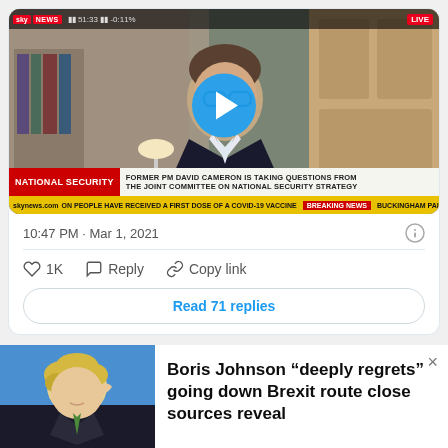[Figure (screenshot): Sky News video thumbnail showing a man being interviewed, with 'NATIONAL SECURITY' ticker and 'FORMER PM DAVID CAMERON IS TAKING QUESTIONS FROM THE JOINT COMMITTEE ON NATIONAL SECURITY STRATEGY' chyron. A blue play button circle is overlaid in the center. A yellow breaking news ticker runs at the bottom.]
10:47 PM · Mar 1, 2021
1K  Reply  Copy link
Read 71 replies
[Figure (photo): Photo of Boris Johnson scratching his head, wearing a suit with a green tie, against a blue background.]
Boris Johnson “deeply regrets” going down Brexit route close sources reveal